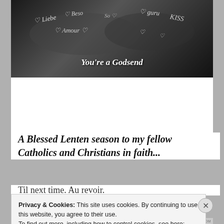[Figure (photo): Black and white photo of hands with words written on them including 'Liebe', 'Amour', 'Kiss', hearts, and other words. Overlay text reads: 'You're a Godsend']
A Blessed Lenten season to my fellow Catholics and Christians in faith...
Til next time. Au revoir.
Privacy & Cookies: This site uses cookies. By continuing to use this website, you agree to their use.
To find out more, including how to control cookies, see here:
Cookie Policy